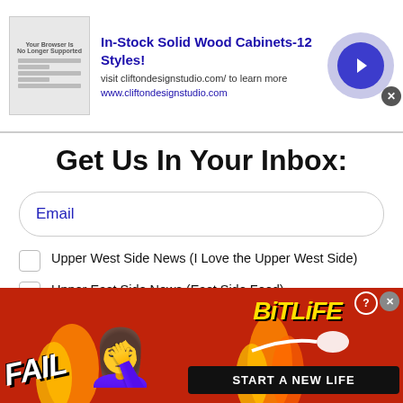[Figure (screenshot): Top advertisement banner for Clifton Design Studio solid wood cabinets, with thumbnail image, text, and arrow button]
Get Us In Your Inbox:
Email
Upper West Side News (I Love the Upper West Side)
Upper East Side News (East Side Feed)
[Figure (screenshot): reCAPTCHA widget with I'm not a robot checkbox, reCAPTCHA logo, Privacy and Terms links]
[Figure (screenshot): Bottom advertisement for BitLife mobile game with FAIL text, character illustration, flames, BitLife logo and START A NEW LIFE banner]